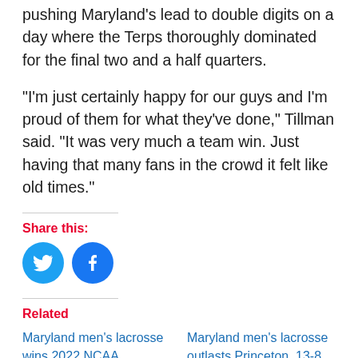pushing Maryland's lead to double digits on a day where the Terps thoroughly dominated for the final two and a half quarters.
“I’m just certainly happy for our guys and I’m proud of them for what they’ve done,” Tillman said. “It was very much a team win. Just having that many fans in the crowd it felt like old times.”
Share this:
[Figure (illustration): Twitter bird icon in a blue circle]
[Figure (illustration): Facebook 'f' icon in a blue circle]
Related
Maryland men’s lacrosse wins 2022 NCAA Championship, 9-7, staving off an upset effort by Cornell
Maryland men’s lacrosse outlasts Princeton, 13-8, advances to play on Memorial Day